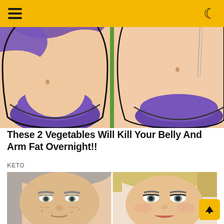[Figure (illustration): Illustration showing two cartoon female torsos side by side wearing purple bikini bottoms, depicting a before/after body transformation concept with belly fat.]
These 2 Vegetables Will Kill Your Belly And Arm Fat Overnight!!
KETO
[Figure (photo): Before and after photo comparison of an older woman's face. Left side shows the woman with a tired, aged appearance with heavy eyelids and skin spots. Right side shows the same woman looking younger with styled blonde hair, makeup, and bright eyes.]